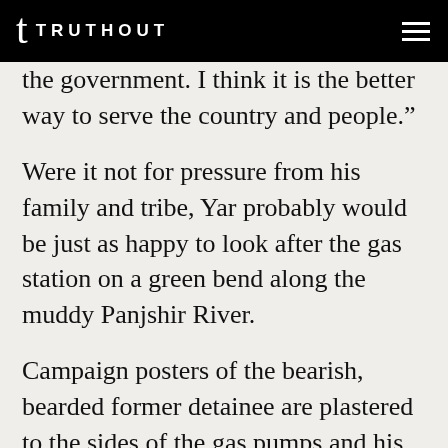TRUTHOUT
the government. I think it is the better way to serve the country and people.”
Were it not for pressure from his family and tribe, Yar probably would be just as happy to look after the gas station on a green bend along the muddy Panjshir River.
Campaign posters of the bearish, bearded former detainee are plastered to the sides of the gas pumps and his stoic profile looks down from a billboard above the Spartan station.